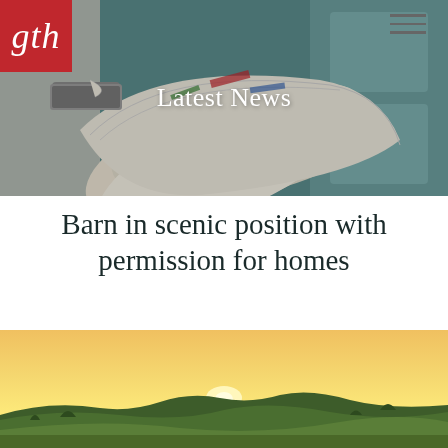[Figure (photo): Hero banner photo of newspapers/mail being delivered through a letterbox slot in a blue door, with 'Latest News' text overlay]
Barn in scenic position with permission for homes
[Figure (photo): Landscape photograph showing a scenic rural countryside at sunset with rolling green fields and a glowing horizon]